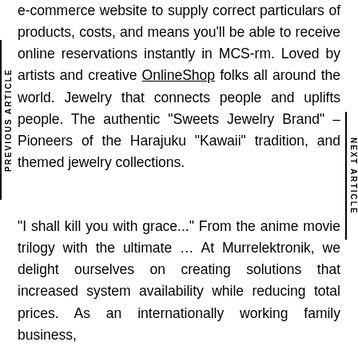it can integrated together with your current e-commerce website to supply correct particulars of products, costs, and means you'll be able to receive online reservations instantly in MCS-rm. Loved by artists and creative OnlineShop folks all around the world. Jewelry that connects people and uplifts people. The authentic "Sweets Jewelry Brand" – Pioneers of the Harajuku "Kawaii" tradition, and themed jewelry collections.
"I shall kill you with grace..." From the anime movie trilogy with the ultimate … At Murrelektronik, we delight ourselves on creating solutions that increased system availability while reducing total prices. As an internationally working family business,